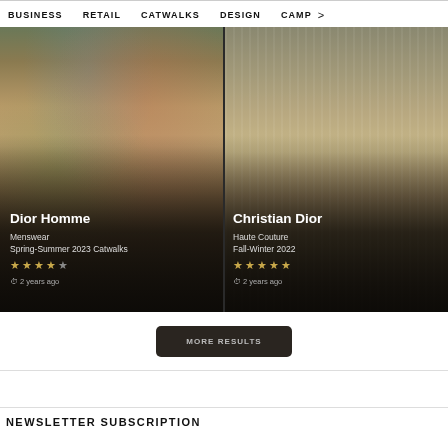BUSINESS  RETAIL  CATWALKS  DESIGN  CAMP >
[Figure (photo): Two fashion cards side by side on dark background. Left card: Dior Homme Menswear Spring-Summer 2023 Catwalks, 4-star rating, 2 years ago. Right card: Christian Dior Haute Couture Fall-Winter 2022, 5-star rating, 2 years ago.]
MORE RESULTS
NEWSLETTER SUBSCRIPTION